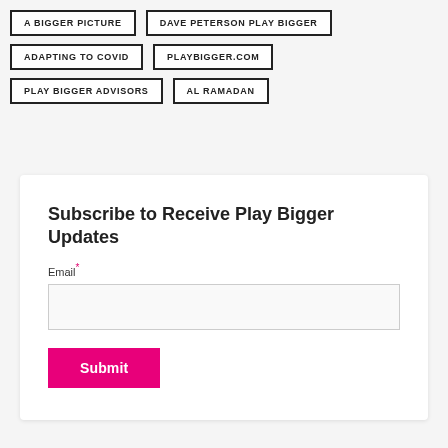A BIGGER PICTURE
DAVE PETERSON PLAY BIGGER
ADAPTING TO COVID
PLAYBIGGER.COM
PLAY BIGGER ADVISORS
AL RAMADAN
Subscribe to Receive Play Bigger Updates
Email*
Submit